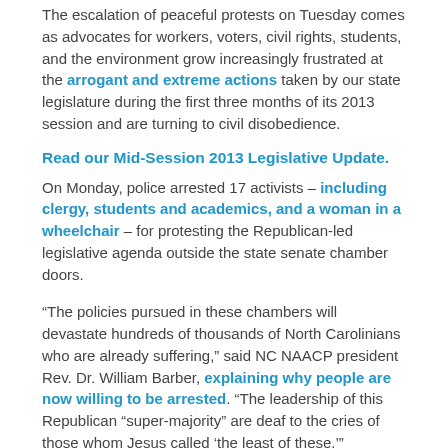The escalation of peaceful protests on Tuesday comes as advocates for workers, voters, civil rights, students, and the environment grow increasingly frustrated at the arrogant and extreme actions taken by our state legislature during the first three months of its 2013 session and are turning to civil disobedience.
Read our Mid-Session 2013 Legislative Update.
On Monday, police arrested 17 activists – including clergy, students and academics, and a woman in a wheelchair – for protesting the Republican-led legislative agenda outside the state senate chamber doors.
“The policies pursued in these chambers will devastate hundreds of thousands of North Carolinians who are already suffering,” said NC NAACP president Rev. Dr. William Barber, explaining why people are now willing to be arrested. “The leadership of this Republican “super-majority” are deaf to the cries of those whom Jesus called ‘the least of these.’”
We are calling together a coalition of goodwill, a nonviolent